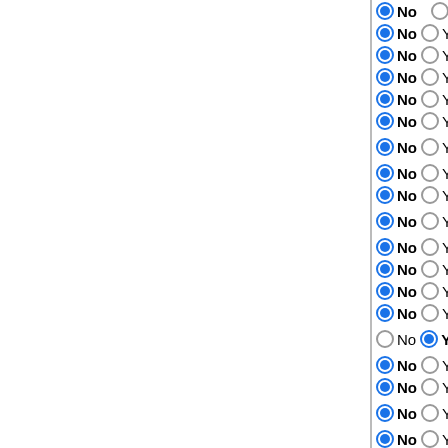No Yes — Saccoglossus kowalevskii vs
No Yes — Petromyzon marinus 76_7.0
No Yes — Meleagris gallopavo 76_2
No Yes — Gallus gallus 76_4
No Yes — Anas platyrhynchos 76_1.0
No Yes — Taeniopygia guttata 76_3.2.4
No Yes — Ficedula albicollis 76_1.0
No Yes — Pelodiscus sinensis 76_1.0
No Yes — Anolis carolinensis 76_2.0
No Yes — Xenopus laevis
No Yes — Xenopus tropicalis 76_4.2
No Yes — Latimeria chalumnae 76_1
No Yes — Lepisosteus oculatus 76
No Yes — Gadus morhua 76_1
No Yes (Yes selected) — Tetraodon nigroviridis 76_8
No Yes — Takifugu rubripes 76_4
No Yes — Gasterosteus aculeatus 76_1
No Yes — Oryzias latipes 76_1
No Yes — Xiphophorus maculatus 76_4